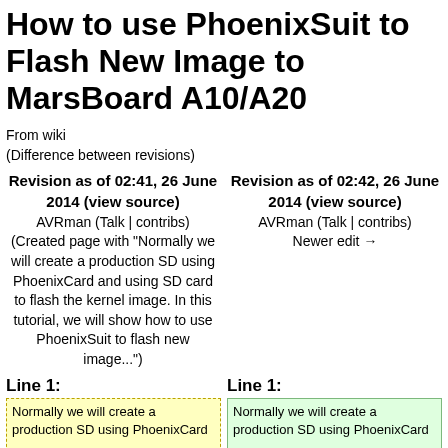How to use PhoenixSuit to Flash New Image to MarsBoard A10/A20
From wiki
(Difference between revisions)
Revision as of 02:41, 26 June 2014 (view source)
AVRman (Talk | contribs)
(Created page with "Normally we will create a production SD using PhoenixCard and using SD card to flash the kernel image. In this tutorial, we will show how to use PhoenixSuit to flash new image...")
Revision as of 02:42, 26 June 2014 (view source)
AVRman (Talk | contribs)
Newer edit →
Line 1:
Line 1:
Normally we will create a production SD using PhoenixCard
Normally we will create a production SD using PhoenixCard